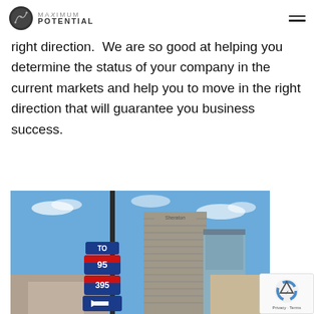Maximum Potential — navigation header with logo
right direction.  We are so good at helping you determine the status of your company in the current markets and help you to move in the right direction that will guarantee you business success.
[Figure (photo): Street-level photo of urban intersection showing interstate highway signs 'TO 95' and '395' with a directional left-arrow sign, and a tall multi-story building (appears to be a hotel or office tower) against a blue sky with scattered clouds.]